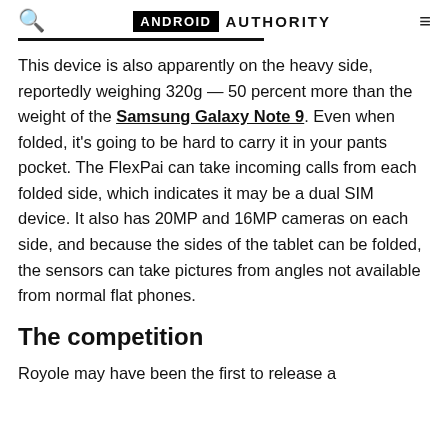ANDROID AUTHORITY
This device is also apparently on the heavy side, reportedly weighing 320g — 50 percent more than the weight of the Samsung Galaxy Note 9. Even when folded, it's going to be hard to carry it in your pants pocket. The FlexPai can take incoming calls from each folded side, which indicates it may be a dual SIM device. It also has 20MP and 16MP cameras on each side, and because the sides of the tablet can be folded, the sensors can take pictures from angles not available from normal flat phones.
The competition
Royole may have been the first to release a